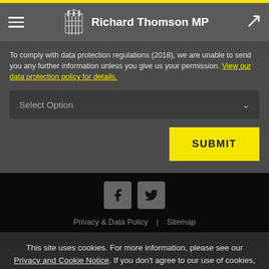Richard Thomson MP
To comply with data protection regulations (2018), we are unable to send you any further information unless you give us your permission. View our data protection policy for details.
[Figure (screenshot): Select Option dropdown field]
[Figure (screenshot): SUBMIT yellow button]
Privacy & Data Policy | Sitemap
This site uses cookies. For more information, please see our Privacy and Cookie Notice. If you don't agree to our use of cookies, please navigate away from this site now.
[Figure (screenshot): ACCEPT button]